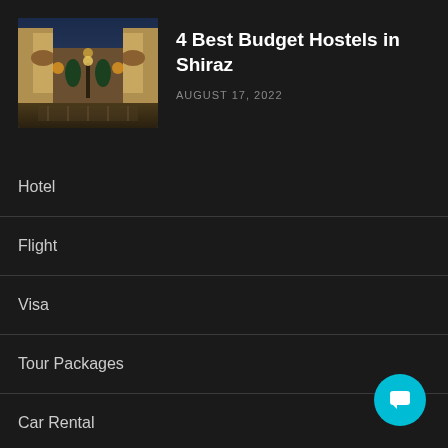[Figure (photo): Photo of a building courtyard at dusk, showing ornate architecture with warm lighting and trees]
4 Best Budget Hostels in Shiraz
AUGUST 17, 2022
Hotel
Flight
Visa
Tour Packages
Car Rental
Experience